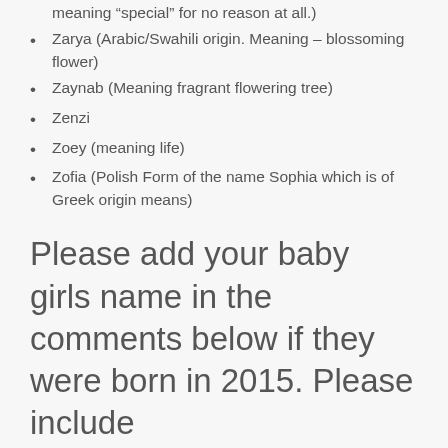meaning “special” for no reason at all.)
Zarya (Arabic/Swahili origin. Meaning – blossoming flower)
Zaynab (Meaning fragrant flowering tree)
Zenzi
Zoey (meaning life)
Zofia (Polish Form of the name Sophia which is of Greek origin means)
Please add your baby girls name in the comments below if they were born in 2015. Please include